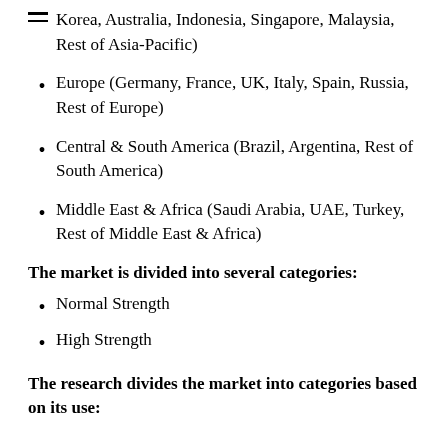Korea, Australia, Indonesia, Singapore, Malaysia, Rest of Asia-Pacific)
Europe (Germany, France, UK, Italy, Spain, Russia, Rest of Europe)
Central & South America (Brazil, Argentina, Rest of South America)
Middle East & Africa (Saudi Arabia, UAE, Turkey, Rest of Middle East & Africa)
The market is divided into several categories:
Normal Strength
High Strength
The research divides the market into categories based on its use: